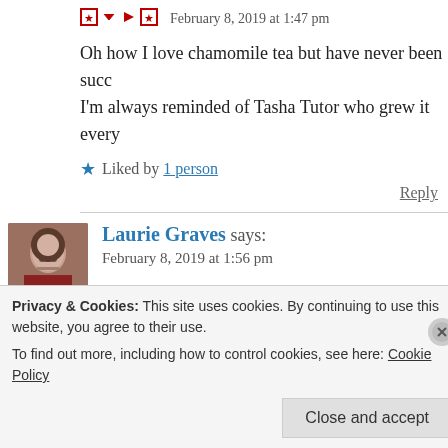February 8, 2019 at 1:47 pm
Oh how I love chamomile tea but have never been succ… I'm always reminded of Tasha Tutor who grew it every…
Liked by 1 person
Reply
Laurie Graves says: February 8, 2019 at 1:56 pm
What a delightful, informative post! While I like the pr… taken by the info that fairies love the scent of chamomi…
Privacy & Cookies: This site uses cookies. By continuing to use this website, you agree to their use. To find out more, including how to control cookies, see here: Cookie Policy
Close and accept